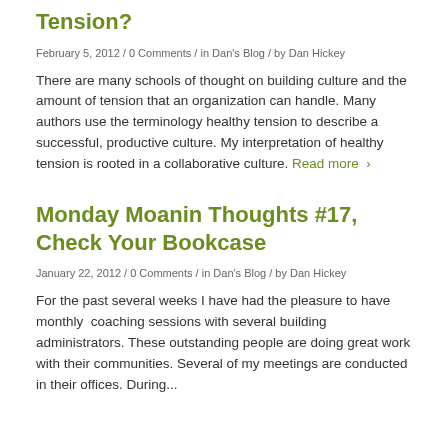Tension?
February 5, 2012 / 0 Comments / in Dan's Blog / by Dan Hickey
There are many schools of thought on building culture and the amount of tension that an organization can handle. Many authors use the terminology healthy tension to describe a successful, productive culture. My interpretation of healthy tension is rooted in a collaborative culture. Read more ›
Monday Moanin Thoughts #17, Check Your Bookcase
January 22, 2012 / 0 Comments / in Dan's Blog / by Dan Hickey
For the past several weeks I have had the pleasure to have monthly  coaching sessions with several building administrators. These outstanding people are doing great work with their communities. Several of my meetings are conducted in their offices. During...